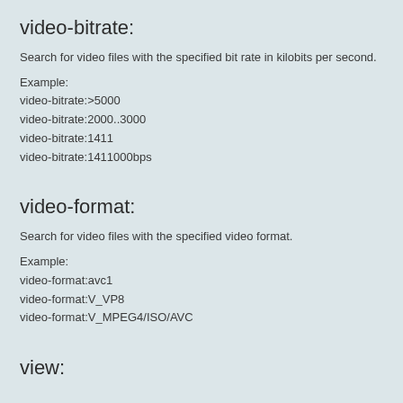video-bitrate:
Search for video files with the specified bit rate in kilobits per second.
Example:
video-bitrate:>5000
video-bitrate:2000..3000
video-bitrate:1411
video-bitrate:1411000bps
video-format:
Search for video files with the specified video format.
Example:
video-format:avc1
video-format:V_VP8
video-format:V_MPEG4/ISO/AVC
view: